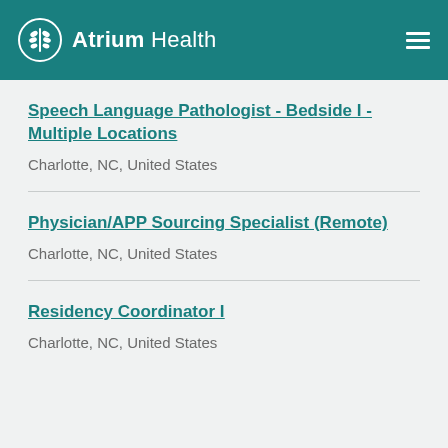Atrium Health
Speech Language Pathologist - Bedside I - Multiple Locations
Charlotte, NC, United States
Physician/APP Sourcing Specialist (Remote)
Charlotte, NC, United States
Residency Coordinator I
Charlotte, NC, United States